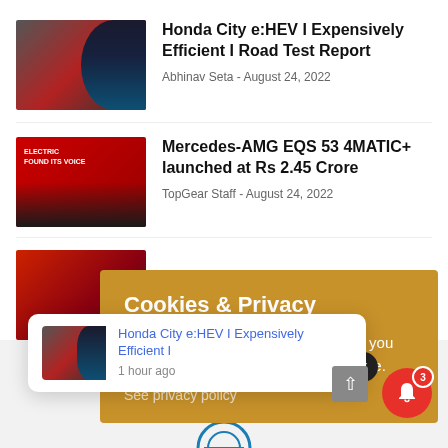Honda City e:HEV I Expensively Efficient I Road Test Report
Abhinav Seta - August 24, 2022
Mercedes-AMG EQS 53 4MATIC+ launched at Rs 2.45 Crore
TopGear Staff - August 24, 2022
Cookies & Privacy
This website uses cookies to ensure you get the best experience on our website.
See privacy policy
Honda City e:HEV I Expensively Efficient I
1 hour ago
[Figure (screenshot): Mobile screenshot of automotive news website TopGear showing article listings, a cookie consent overlay, and a push notification popup]